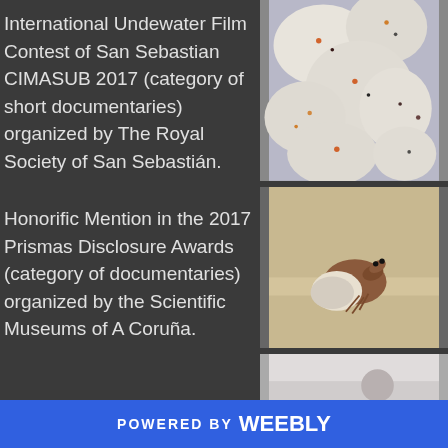International Undewater Film Contest of San Sebastian CIMASUB 2017 (category of short documentaries) organized by The Royal Society of San Sebastián.
[Figure (photo): Close-up photo of white/translucent sea creature eggs or tunicates with colorful spots]
Honorific Mention in the 2017 Prismas Disclosure Awards (category of documentaries) organized by the Scientific Museums of A Coruña.
[Figure (photo): Hermit crab on sandy seafloor with shell]
Second prize (silver railing) in
[Figure (photo): Partial underwater photo, bottom of page]
POWERED BY weebly